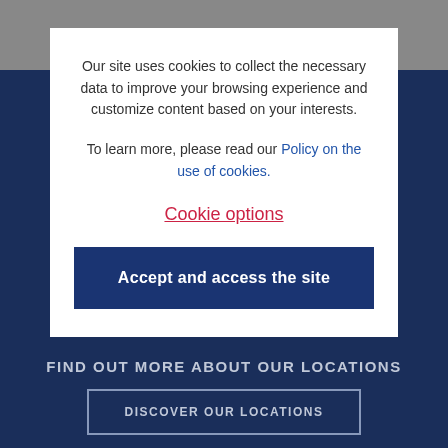Our site uses cookies to collect the necessary data to improve your browsing experience and customize content based on your interests.
To learn more, please read our Policy on the use of cookies.
Cookie options
Accept and access the site
FIND OUT MORE ABOUT OUR LOCATIONS
DISCOVER OUR LOCATIONS